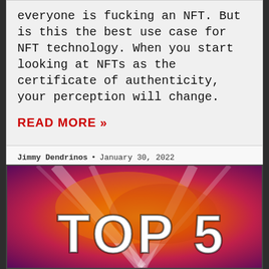everyone is fucking an NFT. But is this the best use case for NFT technology. When you start looking at NFTs as the certificate of authenticity, your perception will change.
READ MORE »
Jimmy Dendrinos • January 30, 2022
[Figure (photo): Colorful promotional image with orange, red, yellow, pink, and purple colors with light beams and large white bold text reading 'TOP 5']